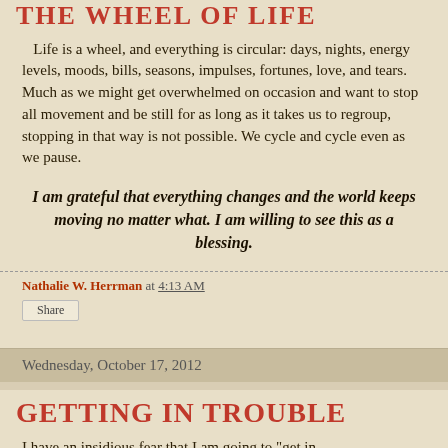THE WHEEL OF LIFE
Life is a wheel, and everything is circular: days, nights, energy levels, moods, bills, seasons, impulses, fortunes, love, and tears. Much as we might get overwhelmed on occasion and want to stop all movement and be still for as long as it takes us to regroup, stopping in that way is not possible. We cycle and cycle even as we pause.
I am grateful that everything changes and the world keeps moving no matter what. I am willing to see this as a blessing.
Nathalie W. Herrman at 4:13 AM
Share
Wednesday, October 17, 2012
GETTING IN TROUBLE
I have an insidious fear that I am going to "get in